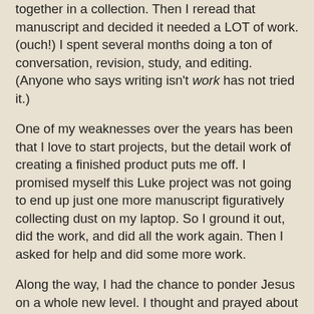together in a collection. Then I reread that manuscript and decided it needed a LOT of work. (ouch!) I spent several months doing a ton of conversation, revision, study, and editing. (Anyone who says writing isn't work has not tried it.)
One of my weaknesses over the years has been that I love to start projects, but the detail work of creating a finished product puts me off. I promised myself this Luke project was not going to end up just one more manuscript figuratively collecting dust on my laptop. So I ground it out, did the work, and did all the work again. Then I asked for help and did some more work.
Along the way, I had the chance to ponder Jesus on a whole new level. I thought and prayed about him and his agenda–what he called his "kingdom." I thought and prayed about what God is up to in our own time. There seems to be a mass extinction going on in churches these days, not to put too fine a point on it. The mainstream press loves to talk about the rise of the "nones," those who claim no religious affiliation. Churches like the one I grew up in seem to be going the way of the passenger pigeon.